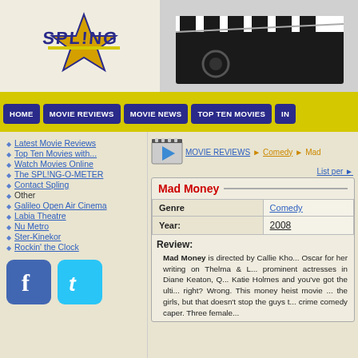[Figure (logo): Spling movie review site logo with yellow star and purple text]
[Figure (illustration): Film clapperboard graphic in black and white]
HOME | MOVIE REVIEWS | MOVIE NEWS | TOP TEN MOVIES | IN...
Latest Movie Reviews
Top Ten Movies with...
Watch Movies Online
The SPL!NG-O-METER
Contact Spling
Other
Galileo Open Air Cinema
Labia Theatre
Nu Metro
Ster-Kinekor
Rockin' the Clock
[Figure (logo): Facebook social media button]
[Figure (logo): Twitter social media button]
MOVIE REVIEWS ▶ Comedy ▶ Mad...
List per ▶
Mad Money
| Genre | Comedy |
| --- | --- |
| Year: | 2008 |
Review:
Mad Money is directed by Callie Kho... Oscar for her writing on Thelma & L... prominent actresses in Diane Keaton, Q... Katie Holmes and you've got the ulti... right? Wrong. This money heist movie ... the girls, but that doesn't stop the guys t... crime comedy caper. Three female...